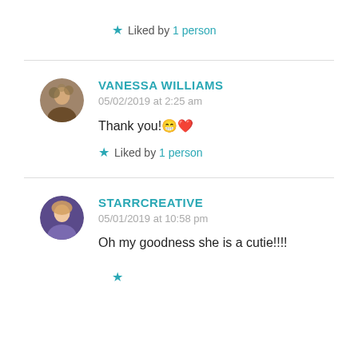★ Liked by 1 person
VANESSA WILLIAMS
05/02/2019 at 2:25 am

Thank you!😄❤

★ Liked by 1 person
STARRCREATIVE
05/01/2019 at 10:58 pm

Oh my goodness she is a cutie!!!!